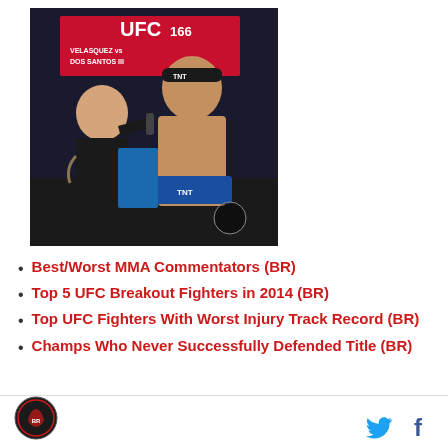[Figure (photo): UFC 166 weigh-in photo. A shirtless male fighter wearing a black TNT headband and blue shorts is being interviewed with a microphone by another man in a black shirt. UFC 166 Velasquez vs dos Santos III branding visible in background.]
Best/Worst MMA Commentators (BR)
Top 5 UFC Breakout Fighters in 2014 (BR)
Top UFC Fighters With Worst Injury Track Record (BR)
Champs Who Never Successfully Defended Title (BR)
Logo | Twitter | Facebook